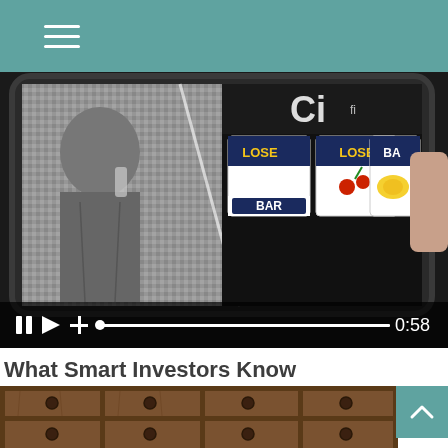Navigation menu header with hamburger icon
[Figure (screenshot): Video player showing a tablet device with a split image: left side shows a black-and-white photo of a man in a blazer drinking, right side shows a slot machine display with 'LOSE', 'LOSE', and 'BAR' reels visible. Video controls at bottom show pause, play, add buttons, a progress bar, and timestamp 0:58.]
What Smart Investors Know
Savvy investors take the time to separate emotion from fact.
[Figure (photo): Partial view of wooden drawers with metal knobs, shown at the bottom of the page.]